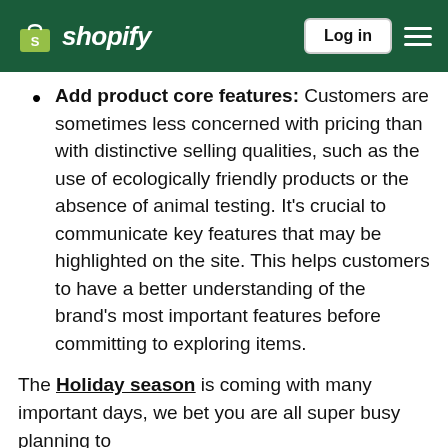Shopify — Log in
Add product core features: Customers are sometimes less concerned with pricing than with distinctive selling qualities, such as the use of ecologically friendly products or the absence of animal testing. It's crucial to communicate key features that may be highlighted on the site. This helps customers to have a better understanding of the brand's most important features before committing to exploring items.
The Holiday season is coming with many important days, we bet you are all super busy planning to